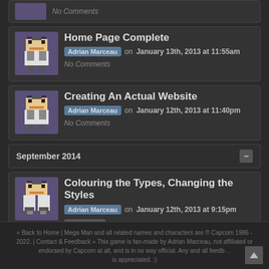No Comments
Home Page Complete
Adrian Marceau on January 13th, 2013 at 11:55am
No Comments
Creating An Actual Website
Adrian Marceau on January 12th, 2013 at 11:40pm
No Comments
September 2014
Colouring the Types, Changing the Styles
Adrian Marceau on January 12th, 2013 at 9:15pm
1 Comment
Updated by Meta
Locked Threads
« Back to Home | Mega Man and all related names and characters are © Capcom 1986 - 2022. | Contact & Feedback » This game is fan-made by Adrian Marceau, not affiliated or endorsed by Capcom at all, and is in no way official. Any and all feedback is appreciated. :)